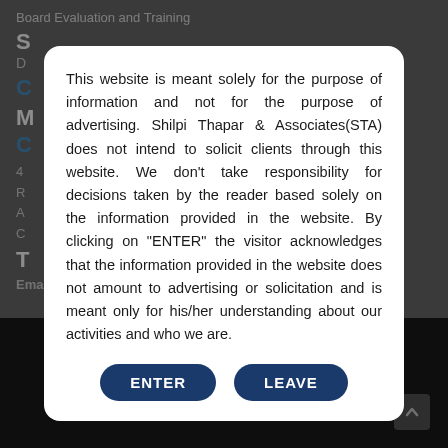Board Evaluation and Training
S
D
C
M
C
4
R
A
C
T
Email: csshilpithapar@gmail.com
[Figure (screenshot): Modal dialog with disclaimer text and ENTER/LEAVE buttons. Text reads: This website is meant solely for the purpose of information and not for the purpose of advertising. Shilpi Thapar & Associates(STA) does not intend to solicit clients through this website. We don't take responsibility for decisions taken by the reader based solely on the information provided in the website. By clicking on "ENTER" the visitor acknowledges that the information provided in the website does not amount to advertising or solicitation and is meant only for his/her understanding about our activities and who we are.]
© 2016 CS Shilpi Thapar
Website Designed & Developed by
Skyy CreaTech Services Pvt. Ltd